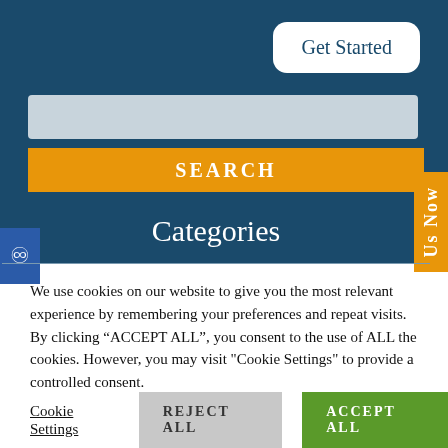[Figure (screenshot): Website header section with dark blue background showing a 'Get Started' button (white rounded rectangle), a light grey search input bar, and an orange 'SEARCH' button. Below is a 'Categories' heading section. An orange vertical tab on the right side reads 'Us Now'. A blue accessibility icon button is on the left edge.]
We use cookies on our website to give you the most relevant experience by remembering your preferences and repeat visits. By clicking “ACCEPT ALL”, you consent to the use of ALL the cookies. However, you may visit "Cookie Settings" to provide a controlled consent.
Cookie Settings
REJECT ALL
ACCEPT ALL